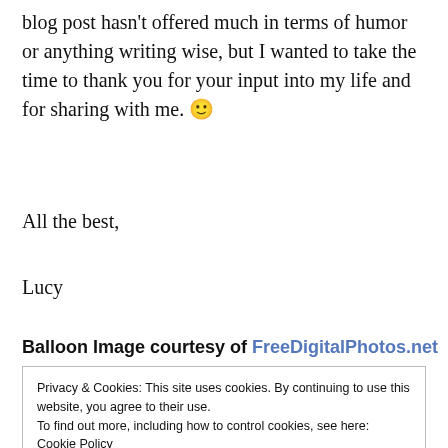blog post hasn't offered much in terms of humor or anything writing wise, but I wanted to take the time to thank you for your input into my life and for sharing with me. 🙂
All the best,
Lucy
Balloon Image courtesy of FreeDigitalPhotos.net
Privacy & Cookies: This site uses cookies. By continuing to use this website, you agree to their use. To find out more, including how to control cookies, see here: Cookie Policy
Close and accept